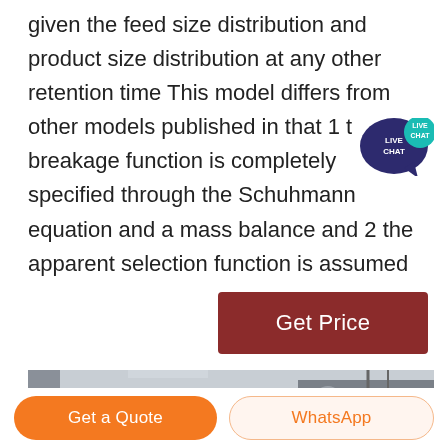given the feed size distribution and product size distribution at any other retention time This model differs from other models published in that 1 the breakage function is completely specified through the Schuhmann equation and a mass balance and 2 the apparent selection function is assumed
[Figure (other): Live chat speech bubble icon with teal/dark blue color and 'LIVE CHAT' text]
Get Price
[Figure (photo): Industrial facility interior showing large pipes, ducts, and processing equipment in a warehouse-like building]
Get a Quote
WhatsApp